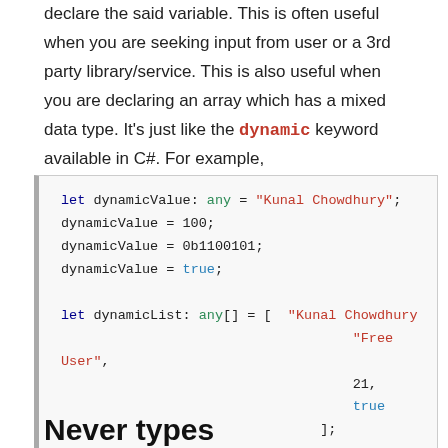declare the said variable. This is often useful when you are seeking input from user or a 3rd party library/service. This is also useful when you are declaring an array which has a mixed data type. It's just like the dynamic keyword available in C#. For example,
Never types